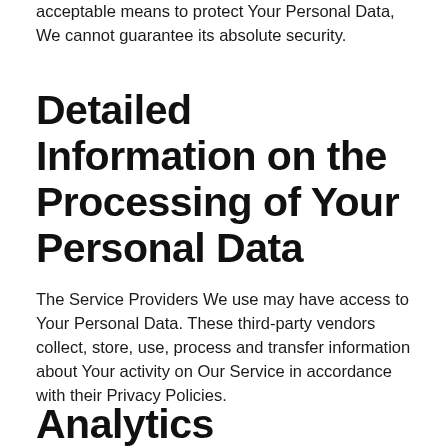acceptable means to protect Your Personal Data, We cannot guarantee its absolute security.
Detailed Information on the Processing of Your Personal Data
The Service Providers We use may have access to Your Personal Data. These third-party vendors collect, store, use, process and transfer information about Your activity on Our Service in accordance with their Privacy Policies.
Analytics